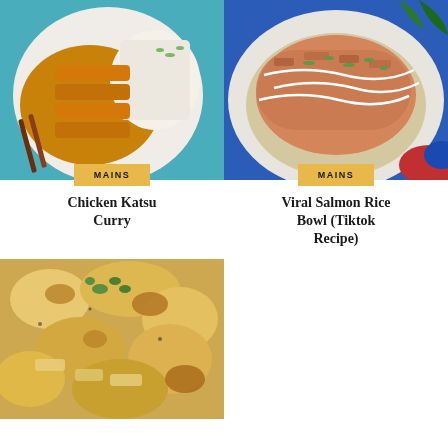[Figure (photo): Overhead view of chicken katsu curry with rice in a white bowl on a teal surface with chopsticks]
MAINS
Chicken Katsu Curry
[Figure (photo): Overhead view of viral salmon rice bowl (Tiktok recipe) with creamy drizzle and green onions]
MAINS
Viral Salmon Rice Bowl (Tiktok Recipe)
[Figure (photo): Close-up of baked pasta dish with melted cheese and herbs garnish]